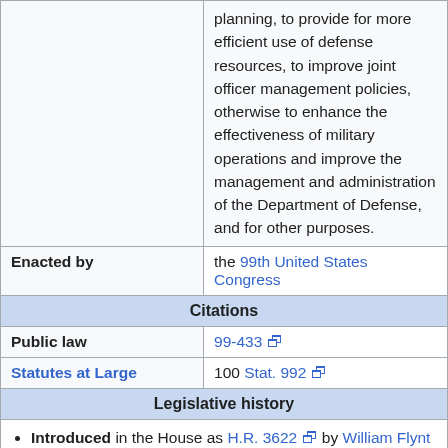|  | planning, to provide for more efficient use of defense resources, to improve joint officer management policies, otherwise to enhance the effectiveness of military operations and improve the management and administration of the Department of Defense, and for other purposes. |
| Enacted by | the 99th United States Congress |
| Citations |  |
| Public law | 99-433 |
| Statutes at Large | 100 Stat. 992 |
| Legislative history |  |
| Introduced in the House as H.R. 3622 by William Flynt Nichols (D–AL) on October 24, 1985 |  |